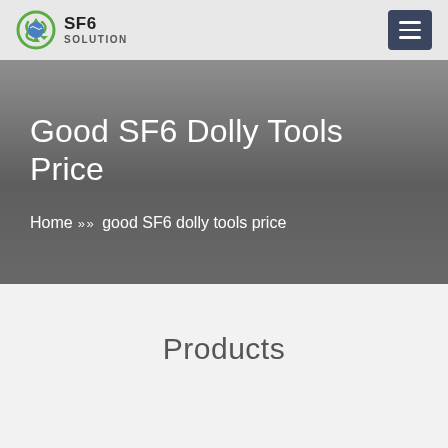[Figure (logo): SF6 Solution logo with green circular recycling-style icon and text 'SF6 SOLUTION']
Good SF6 Dolly Tools Price
Home >> >> good SF6 dolly tools price
Products